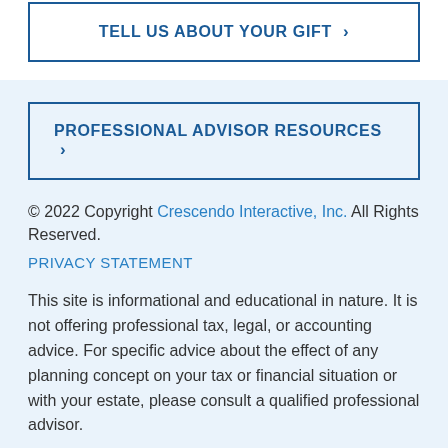TELL US ABOUT YOUR GIFT >
PROFESSIONAL ADVISOR RESOURCES >
© 2022 Copyright Crescendo Interactive, Inc. All Rights Reserved.
PRIVACY STATEMENT
This site is informational and educational in nature. It is not offering professional tax, legal, or accounting advice. For specific advice about the effect of any planning concept on your tax or financial situation or with your estate, please consult a qualified professional advisor.